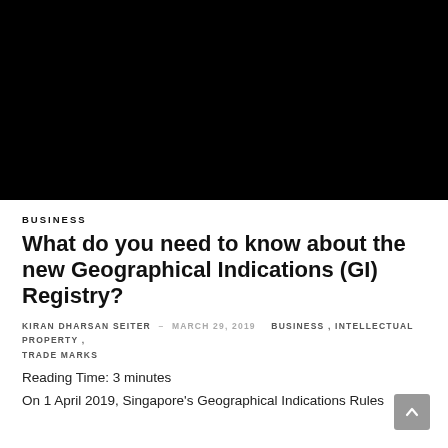[Figure (photo): Black rectangle image at top of page]
BUSINESS
What do you need to know about the new Geographical Indications (GI) Registry?
KIRAN DHARSAN SEITER – MARCH 29, 2019  BUSINESS , INTELLECTUAL PROPERTY , TRADE MARKS
Reading Time: 3 minutes
On 1 April 2019, Singapore's Geographical Indications Rules 2019 will come into operation. The Geographical Indications...